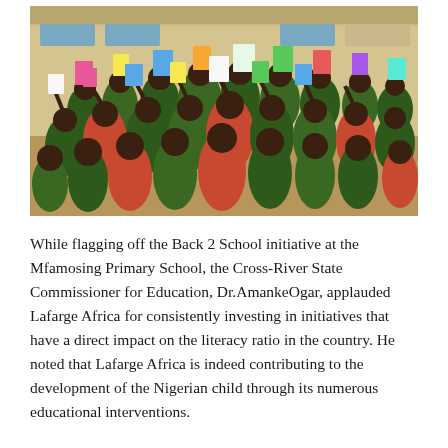[Figure (photo): School children in green uniforms holding up books and papers outdoors in front of a yellow building, celebrating the Back 2 School initiative at Mfamosing Primary School.]
While flagging off the Back 2 School initiative at the Mfamosing Primary School, the Cross-River State Commissioner for Education, Dr.AmankeOgar, applauded Lafarge Africa for consistently investing in initiatives that have a direct impact on the literacy ratio in the country. He noted that Lafarge Africa is indeed contributing to the development of the Nigerian child through its numerous educational interventions.